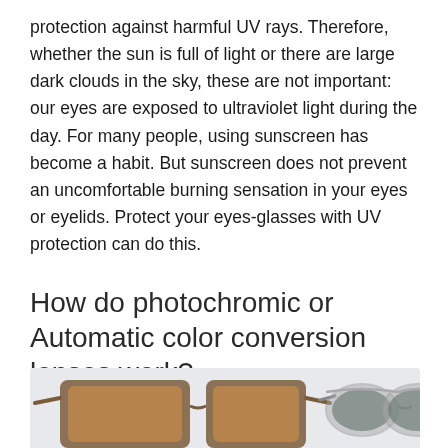protection against harmful UV rays. Therefore, whether the sun is full of light or there are large dark clouds in the sky, these are not important: our eyes are exposed to ultraviolet light during the day. For many people, using sunscreen has become a habit. But sunscreen does not prevent an uncomfortable burning sensation in your eyes or eyelids. Protect your eyes-glasses with UV protection can do this.
How do photochromic or Automatic color conversion lenses work?
[Figure (photo): Two pairs of sunglasses side by side — one with brown/amber tinted lenses in a brown frame on the left, and one with grey/dark tinted lenses in a metal frame on the right, photographed against a light grey background.]